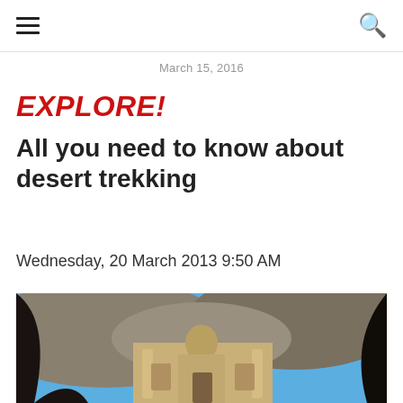≡  🔍
March 15, 2016
EXPLORE!
All you need to know about desert trekking
Wednesday, 20 March 2013 9:50 AM
[Figure (photo): Photo of an ancient rock-carved temple or monastery (resembling Petra, Jordan) framed through a dark cave opening, with blue sky and rocky cliffs visible above the ornate facade.]